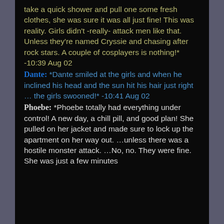take a quick shower and pull one some fresh clothes, she was sure it was all just fine! This was reality. Girls didn't -really- attack men like that. Unless they're named Cryssie and chasing after rock stars. A couple of cosplayers is nothing!* -10:39 Aug 02
Dante: *Dante smiled at the girls and when he inclined his head and the sun hit his hair just right … the girls swooned!* -10:41 Aug 02
Phoebe: *Phoebe totally had everything under control! A new day, a chill pill, and good plan! She pulled on her jacket and made sure to lock up the apartment on her way out. …unless there was a hostile monster attack. …No, no. They were fine. She was just a few minutes